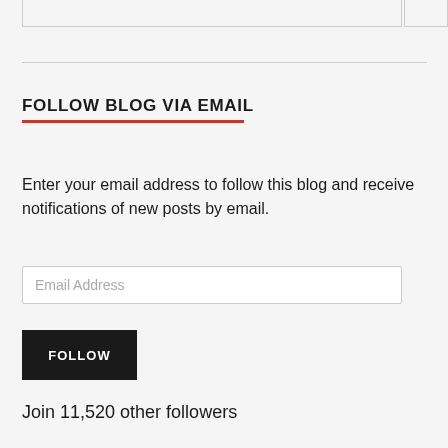FOLLOW BLOG VIA EMAIL
Enter your email address to follow this blog and receive notifications of new posts by email.
Email Address
FOLLOW
Join 11,520 other followers